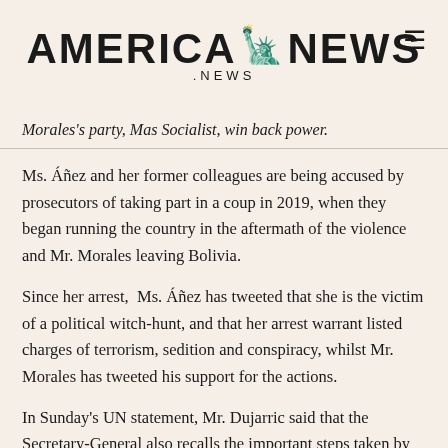AMERICA NEWS .NEWS
Morales's party, Mas Socialist, win back power.
Ms. Áñez and her former colleagues are being accused by prosecutors of taking part in a coup in 2019, when they began running the country in the aftermath of the violence and Mr. Morales leaving Bolivia.
Since her arrest,  Ms. Áñez has tweeted that she is the victim of a political witch-hunt, and that her arrest warrant listed charges of terrorism, sedition and conspiracy, whilst Mr. Morales has tweeted his support for the actions.
In Sunday's UN statement, Mr. Dujarric said that the Secretary-General also recalls the important steps taken by all Bolivian actors towards the consolidation of peace and reiterates the United Nations commitment to support the efforts, including through the facilitation of political...